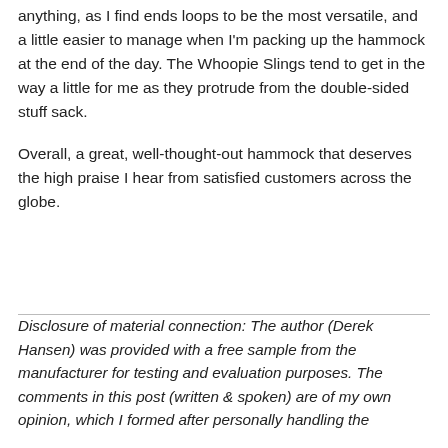anything, as I find ends loops to be the most versatile, and a little easier to manage when I'm packing up the hammock at the end of the day. The Whoopie Slings tend to get in the way a little for me as they protrude from the double-sided stuff sack.
Overall, a great, well-thought-out hammock that deserves the high praise I hear from satisfied customers across the globe.
Disclosure of material connection: The author (Derek Hansen) was provided with a free sample from the manufacturer for testing and evaluation purposes. The comments in this post (written & spoken) are of my own opinion, which I formed after personally handling the